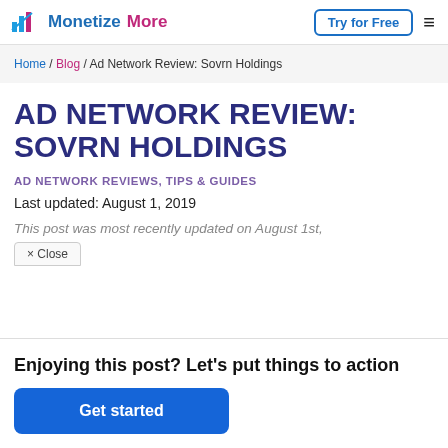MonetizeMore | Try for Free
Home / Blog / Ad Network Review: Sovrn Holdings
AD NETWORK REVIEW: SOVRN HOLDINGS
AD NETWORK REVIEWS, TIPS & GUIDES
Last updated: August 1, 2019
This post was most recently updated on August 1st,
× Close
Enjoying this post? Let's put things to action
Get started